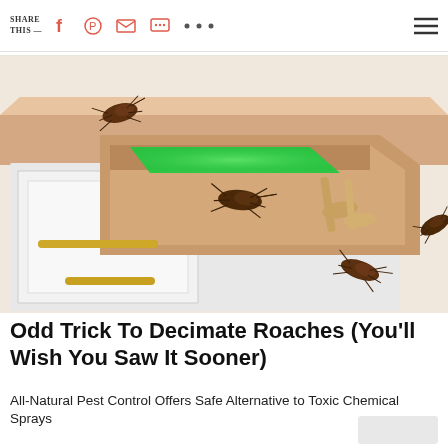SHARE THIS —  [social icons: Facebook, Pinterest, Email, Message, More, Menu]
[Figure (illustration): Illustration of an open kitchen drawer with cockroaches crawling on and around it. The drawer contains a glowing green item, wooden spoons, and other utensils. Cockroaches are visible on the cabinet top-left, inside the drawer, on the drawer front, and on the right side of the cabinet.]
Odd Trick To Decimate Roaches (You'll Wish You Saw It Sooner)
All-Natural Pest Control Offers Safe Alternative to Toxic Chemical Sprays